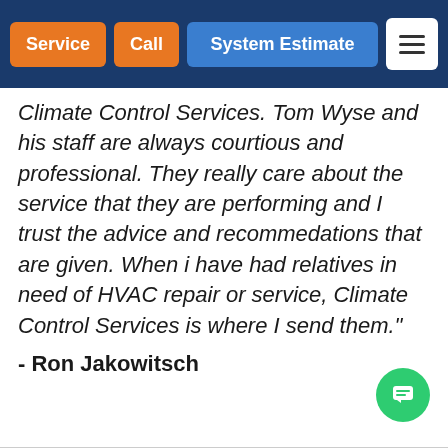Service | Call | System Estimate | [Menu]
Climate Control Services. Tom Wyse and his staff are always courtious and professional. They really care about the service that they are performing and I trust the advice and recommedations that are given. When i have had relatives in need of HVAC repair or service, Climate Control Services is where I send them."
- Ron Jakowitsch